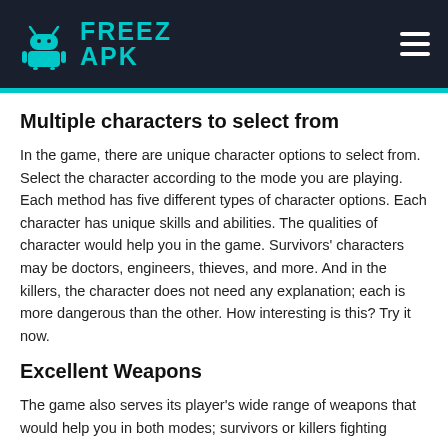FREEZ APK
Multiple characters to select from
In the game, there are unique character options to select from. Select the character according to the mode you are playing. Each method has five different types of character options. Each character has unique skills and abilities. The qualities of character would help you in the game. Survivors' characters may be doctors, engineers, thieves, and more. And in the killers, the character does not need any explanation; each is more dangerous than the other. How interesting is this? Try it now.
Excellent Weapons
The game also serves its player's wide range of weapons that would help you in both modes; survivors or killers fighting